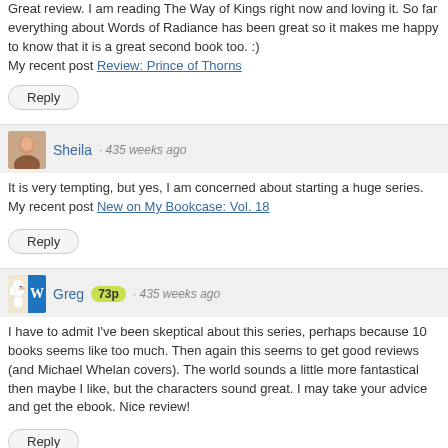Great review. I am reading The Way of Kings right now and loving it. So far everything about Words of Radiance has been great so it makes me happy to know that it is a great second book too. :)
My recent post Review: Prince of Thorns
Reply
Sheila · 435 weeks ago
It is very tempting, but yes, I am concerned about starting a huge series.
My recent post New on My Bookcase: Vol. 18
Reply
Greg 73p · 435 weeks ago
I have to admit I've been skeptical about this series, perhaps because 10 books seems like too much. Then again this seems to get good reviews (and Michael Whelan covers). The world sounds a little more fantastical then maybe I like, but the characters sound great. I may take your advice and get the ebook. Nice review!
Reply
Claudia Winter · 261 weeks ago
I agree with you reading is the fun and on behalf of this we able to boost our memory and improve the vocabulary as well. There is a number of people like are looking